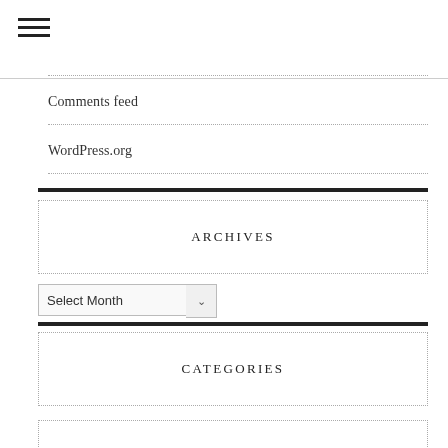[Figure (other): Hamburger menu icon (three horizontal lines)]
Comments feed
WordPress.org
ARCHIVES
Select Month (dropdown)
CATEGORIES